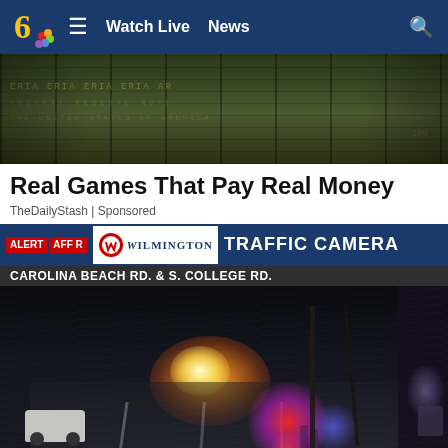6 ≡ Watch Live  News  🔍
[Figure (photo): Close-up of US dollar bills viewed from above, green tone, showing serial numbers and text on banknotes]
Real Games That Pay Real Money
TheDailyStash | Sponsored
[Figure (screenshot): Wilmington Traffic Camera feed showing CAROLINA BEACH RD. & S. COLLEGE RD. at night. There is a bright light/fire in the center, emergency vehicles with red/blue flashing lights on the right, and a white car on the left side of the wet road. ALERT / AFFAIR badges on left, Wilmington logo in center-left of header bar.]
MOST  FIRST ALERT WEATHER  What You Need To KNOW For 2022  HURRICANE CENTER ⊗